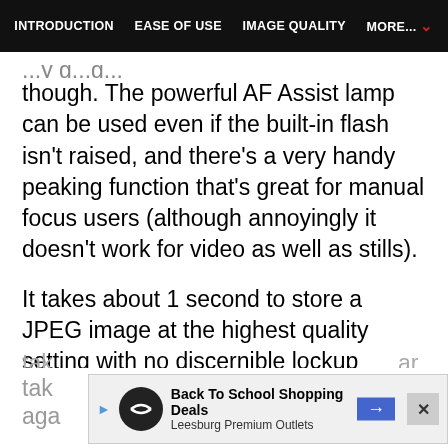INTRODUCTION   EASE OF USE   IMAGE QUALITY   MORE...
though. The powerful AF Assist lamp can be used even if the built-in flash isn't raised, and there's a very handy peaking function that's great for manual focus users (although annoyingly it doesn't work for video as well as stills).
It takes about 1 second to store a JPEG image at the highest quality setting with no discernible lockup between taking shots, allowing you to keep shooting as they are being recorded onto the memory card. For RAW images the Pentax K-50
[Figure (other): Advertisement banner for Back To School Shopping Deals at Leesburg Premium Outlets, partially overlapping the article text at the bottom of the page.]